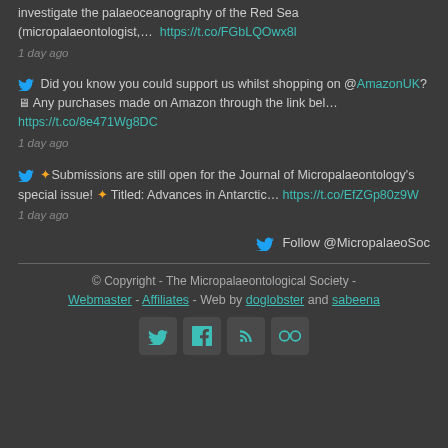investigate the palaeoceanography of the Red Sea (micropalaeontologist,... https://t.co/FGbLQOwx8l
1 day ago
Did you know you could support us whilst shopping on @AmazonUK? 🖥 Any purchases made on Amazon through the link bel... https://t.co/8e471Wg8DC
1 day ago
🌟Submissions are still open for the Journal of Micropalaeontology's special issue! 🌟 Titled: Advances in Antarctic... https://t.co/EfZGp80z9W
1 day ago
Follow @MicropalaeoSoc
© Copyright - The Micropalaeontological Society -
Webmaster - Affiliates - Web by doglobster and sabeena